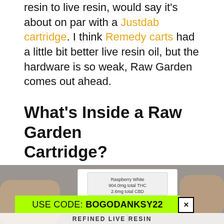resin to live resin, would say it's about on par with a Justdab cartridge. I think Remedy carts had a little bit better live resin oil, but the hardware is so weak, Raw Garden comes out ahead.
What's Inside a Raw Garden Cartridge?
[Figure (photo): Hand holding a Raw Garden Raspberry White cartridge box showing 904.0mg total THC and 2.6mg total CBD label, with a green seedling logo, and a bright green promo bar reading USE CODE: BOGODANKSY22, plus REFINED LIVE RESIN text at the bottom]